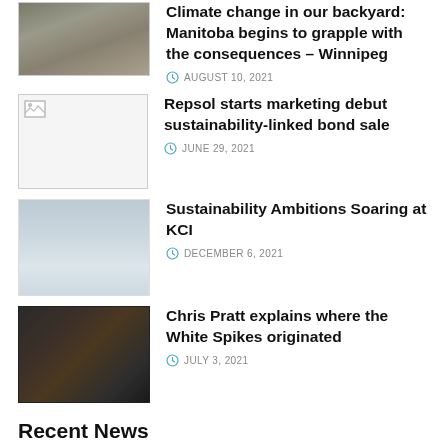[Figure (photo): Rocky/gravel landscape photo, partially cropped at top]
Climate change in our backyard: Manitoba begins to grapple with the consequences – Winnipeg
AUGUST 10, 2021
[Figure (photo): Broken image placeholder icon]
Repsol starts marketing debut sustainability-linked bond sale
JUNE 29, 2021
[Figure (photo): Misty/foggy landscape photo]
Sustainability Ambitions Soaring at KCI
DECEMBER 6, 2021
[Figure (photo): Movie scene photo with dark tones, characters in forest or foliage]
Chris Pratt explains where the White Spikes originated
JULY 3, 2021
Recent News
[Figure (photo): Recent news image placeholder, partially visible at bottom]